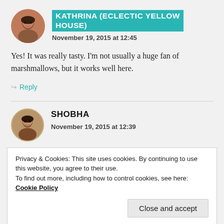[Figure (photo): Circular avatar photo of Kathrina, a woman smiling]
KATHRINA (ECLECTIC YELLOW HOUSE)
November 19, 2015 at 12:45
Yes! It was really tasty. I'm not usually a huge fan of marshmallows, but it works well here.
Reply
[Figure (photo): Circular avatar photo of Shobha]
SHOBHA
November 19, 2015 at 12:39
Privacy & Cookies: This site uses cookies. By continuing to use this website, you agree to their use.
To find out more, including how to control cookies, see here: Cookie Policy
Close and accept
[Figure (photo): Circular avatar photo of Kathrina at bottom]
KATHRINA (ECLECTIC YELLOW